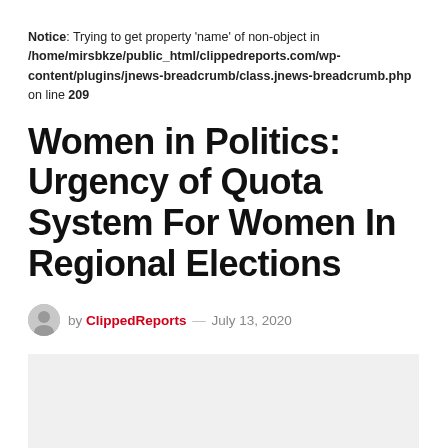Notice: Trying to get property 'name' of non-object in /home/mirsbkze/public_html/clippedreports.com/wp-content/plugins/jnews-breadcrumb/class.jnews-breadcrumb.php on line 209
Women in Politics: Urgency of Quota System For Women In Regional Elections
by ClippedReports — July 13, 2020
[Figure (photo): Light gray image placeholder rectangle]